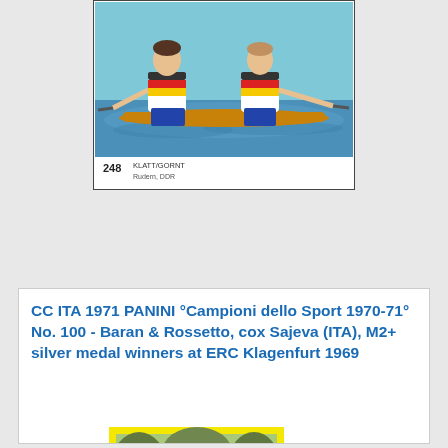[Figure (photo): Sports sticker card No. 248 KLATT/GORNY showing two rowers in a double scull boat on water, wearing German flag colors. Caption reads '248 KLATT/GORNT Rudern, DDR']
CC ITA 1971 PANINI °Campioni dello Sport 1970-71° No. 100 - Baran & Rossetto, cox Sajeva (ITA), M2+ silver medal winners at ERC Klagenfurt 1969
[Figure (photo): Panini sticker card with yellow border showing three athletes posing together - two in red athletic vests and one in blue in the center, photographed outdoors.]